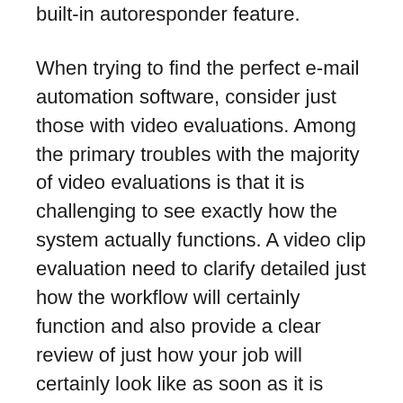built-in autoresponder feature.
When trying to find the perfect e-mail automation software, consider just those with video evaluations. Among the primary troubles with the majority of video evaluations is that it is challenging to see exactly how the system actually functions. A video clip evaluation need to clarify detailed just how the workflow will certainly function and also provide a clear review of just how your job will certainly look like as soon as it is completed. For example, if you are setting up a follow-up project to offer some products, you need to try to find a video that describes the steps to complete the process.